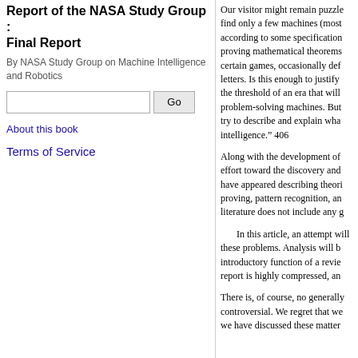Report of the NASA Study Group : Final Report
By NASA Study Group on Machine Intelligence and Robotics
About this book
Terms of Service
Our visitor might remain puzzle find only a few machines (most according to some specification proving mathematical theorems certain games, occasionally def letters. Is this enough to justify the threshold of an era that will problem-solving machines. But try to describe and explain wha intelligence.” 406
Along with the development of effort toward the discovery and have appeared describing theori proving, pattern recognition, an literature does not include any g
In this article, an attempt will these problems. Analysis will b introductory function of a revie report is highly compressed, an
There is, of course, no generally controversial. We regret that w we have discussed these matter